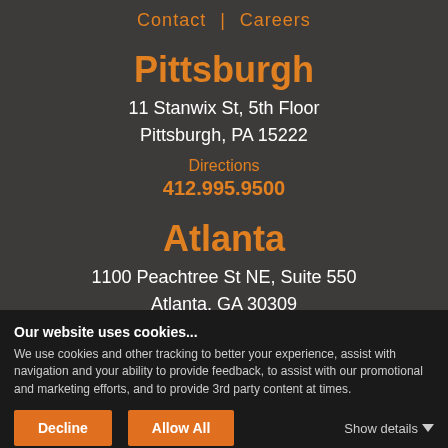Contact | Careers
Pittsburgh
11 Stanwix St, 5th Floor
Pittsburgh, PA 15222
Directions
412.995.9500
Atlanta
1100 Peachtree St NE, Suite 550
Atlanta, GA 30309
Directions
404.479.7300
Our website uses cookies...
We use cookies and other tracking to better your experience, assist with navigation and your ability to provide feedback, to assist with our promotional and marketing efforts, and to provide 3rd party content at times.
Decline
Allow All
Show details